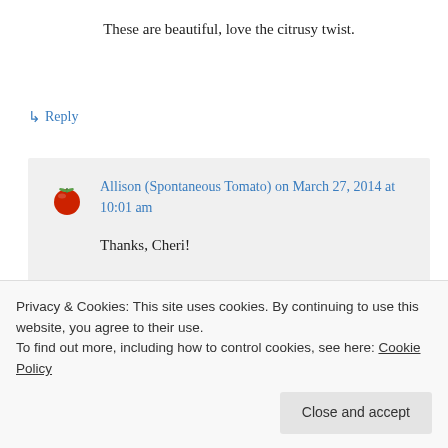These are beautiful, love the citrusy twist.
↳ Reply
Allison (Spontaneous Tomato) on March 27, 2014 at 10:01 am
Thanks, Cheri!
↳ Reply
Privacy & Cookies: This site uses cookies. By continuing to use this website, you agree to their use.
To find out more, including how to control cookies, see here: Cookie Policy
Close and accept